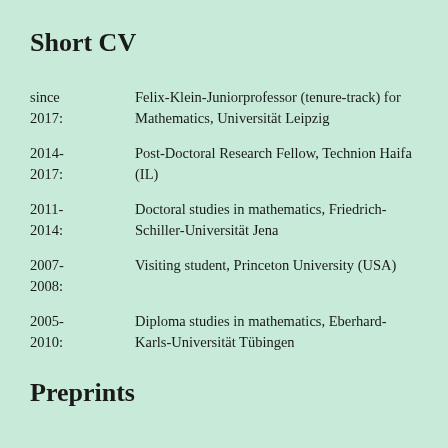Short CV
since 2017: Felix-Klein-Juniorprofessor (tenure-track) for Mathematics, Universität Leipzig
2014-2017: Post-Doctoral Research Fellow, Technion Haifa (IL)
2011-2014: Doctoral studies in mathematics, Friedrich-Schiller-Universität Jena
2007-2008: Visiting student, Princeton University (USA)
2005-2010: Diploma studies in mathematics, Eberhard-Karls-Universität Tübingen
Preprints